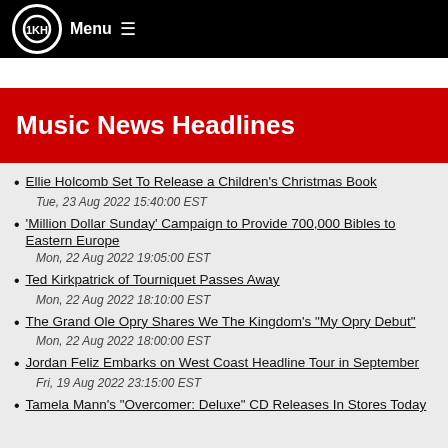Menu ☰
Music News Headlines
Ellie Holcomb Set To Release a Children's Christmas Book
Tue, 23 Aug 2022 15:40:00 EST
'Million Dollar Sunday' Campaign to Provide 700,000 Bibles to Eastern Europe
Mon, 22 Aug 2022 19:05:00 EST
Ted Kirkpatrick of Tourniquet Passes Away
Mon, 22 Aug 2022 18:10:00 EST
The Grand Ole Opry Shares We The Kingdom's "My Opry Debut"
Mon, 22 Aug 2022 18:00:00 EST
Jordan Feliz Embarks on West Coast Headline Tour in September
Fri, 19 Aug 2022 23:15:00 EST
Tamela Mann's "Overcomer: Deluxe" CD Releases In Stores Today